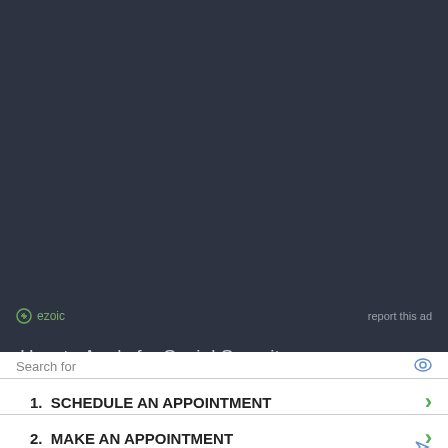[Figure (logo): Ezoic logo and report this ad label on dark background]
How to Apply for Social Security
How to Replace a Lost or Stolen Social Security Card
How Do I Apply for a Social Security Card?
Medicare vs Medicaid: Key Differences You Need To Know
Search for
1.  SCHEDULE AN APPOINTMENT
2.  MAKE AN APPOINTMENT